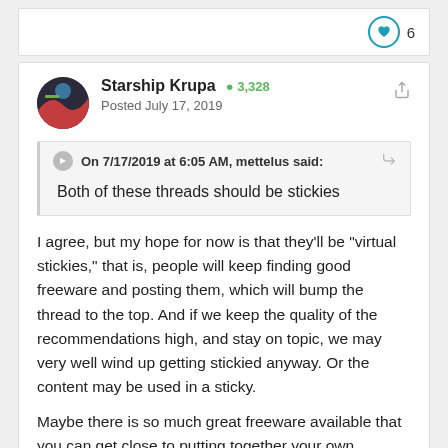❤ 6
Starship Krupa  +3,328
Posted July 17, 2019
On 7/17/2019 at 6:05 AM, mettelus said:
Both of these threads should be stickies
I agree, but my hope for now is that they'll be "virtual stickies," that is, people will keep finding good freeware and posting them, which will bump the thread to the top. And if we keep the quality of the recommendations high, and stay on topic, we may very well wind up getting stickied anyway. Or the content may be used in a sticky.
Maybe there is so much great freeware available that you can get close to putting together your own "Cakewalk Platinum" level substitution for power for the serious musician.